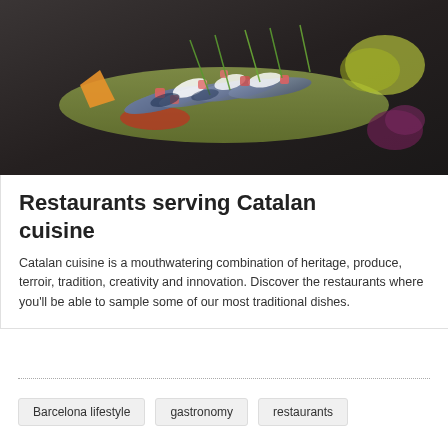[Figure (photo): A dark slate board with sardines/anchovies garnished with diced tomatoes, white onion slices, chives, and greens on a dark background. An orange crisp and purple garnish are visible on the sides.]
Restaurants serving Catalan cuisine
Catalan cuisine is a mouthwatering combination of heritage, produce, terroir, tradition, creativity and innovation. Discover the restaurants where you'll be able to sample some of our most traditional dishes.
Barcelona lifestyle
gastronomy
restaurants